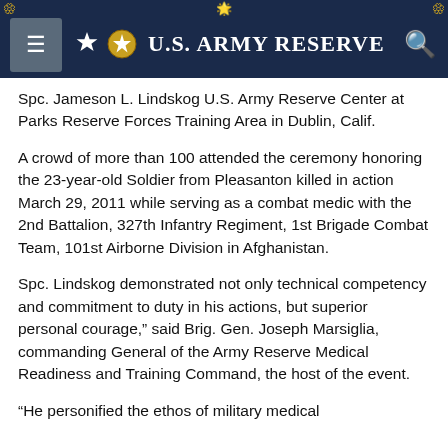U.S. Army Reserve
Spc. Jameson L. Lindskog U.S. Army Reserve Center at Parks Reserve Forces Training Area in Dublin, Calif.
A crowd of more than 100 attended the ceremony honoring the 23-year-old Soldier from Pleasanton killed in action March 29, 2011 while serving as a combat medic with the 2nd Battalion, 327th Infantry Regiment, 1st Brigade Combat Team, 101st Airborne Division in Afghanistan.
Spc. Lindskog demonstrated not only technical competency and commitment to duty in his actions, but superior personal courage," said Brig. Gen. Joseph Marsiglia, commanding General of the Army Reserve Medical Readiness and Training Command, the host of the event.
“He personified the ethos of military medical